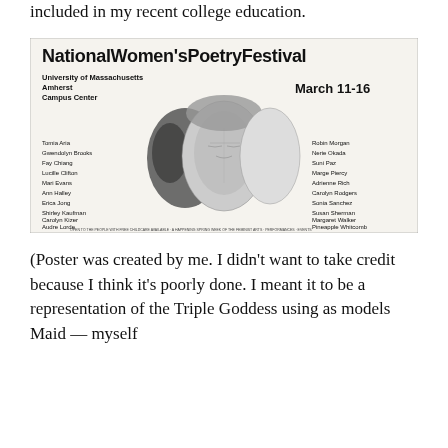included in my recent college education.
[Figure (photo): Poster for the National Women's Poetry Festival at University of Massachusetts Amherst Campus Center, March 11-16. Features an illustration of three faces (Triple Goddess) and lists poets: Tomia Aria, Gwendolyn Brooks, Fay Chiang, Lucille Clifton, Mari Evans, Ann Halley, Erica Jong, Shirley Kaufman, Carolyn Kizer, Audre Lorde, Robin Morgan, Nerie Okada, Suni Paz, Marge Piercy, Adrienne Rich, Carolyn Rodgers, Sonia Sanchez, Susan Sherman, Margaret Walker, Pineapple Whitcomb.]
(Poster was created by me. I didn’t want to take credit because I think it’s poorly done. I meant it to be a representation of the Triple Goddess using as models Maid — myself